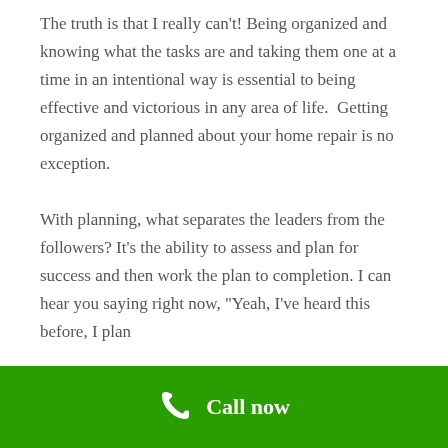The truth is that I really can't! Being organized and knowing what the tasks are and taking them one at a time in an intentional way is essential to being effective and victorious in any area of life.  Getting organized and planned about your home repair is no exception.
With planning, what separates the leaders from the followers? It's the ability to assess and plan for success and then work the plan to completion. I can hear you saying right now, "Yeah, I've heard this before, I plan...
Call now